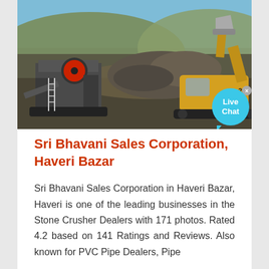[Figure (photo): Outdoor mining/quarry scene showing a stone crusher machine on the left and a large yellow excavator on the right, with rocky hillside in background under blue sky.]
Sri Bhavani Sales Corporation, Haveri Bazar
Sri Bhavani Sales Corporation in Haveri Bazar, Haveri is one of the leading businesses in the Stone Crusher Dealers with 171 photos. Rated 4.2 based on 141 Ratings and Reviews. Also known for PVC Pipe Dealers, Pipe